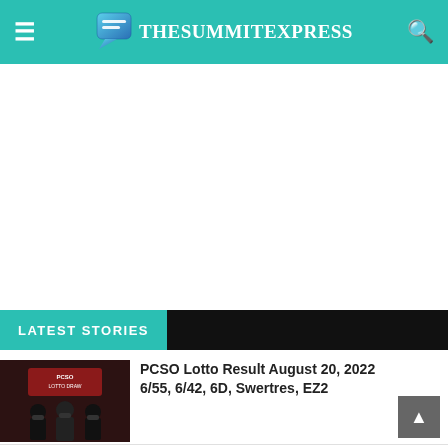TheSummitExpress
[Figure (other): Advertisement/blank white space area]
LATEST STORIES
[Figure (photo): PCSO Lotto Draw thumbnail showing people in masks at PCSO Lotto Draw backdrop]
PCSO Lotto Result August 20, 2022 6/55, 6/42, 6D, Swertres, EZ2